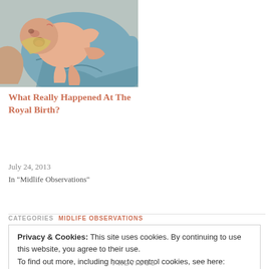[Figure (photo): A newborn baby being held up, wrapped partially in blue fabric, photographed just after birth.]
What Really Happened At The Royal Birth?
July 24, 2013
In "Midlife Observations"
CATEGORIES  MIDLIFE OBSERVATIONS
Privacy & Cookies: This site uses cookies. By continuing to use this website, you agree to their use.
To find out more, including how to control cookies, see here:
Cookie Policy
Close and accept
PREVIOUS